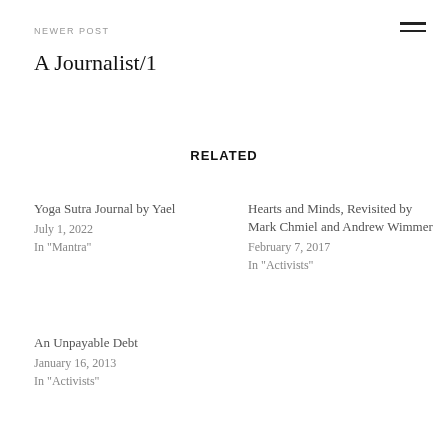NEWER POST
A Journalist/1
RELATED
Yoga Sutra Journal by Yael
July 1, 2022
In "Mantra"
Hearts and Minds, Revisited by Mark Chmiel and Andrew Wimmer
February 7, 2017
In "Activists"
An Unpayable Debt
January 16, 2013
In "Activists"